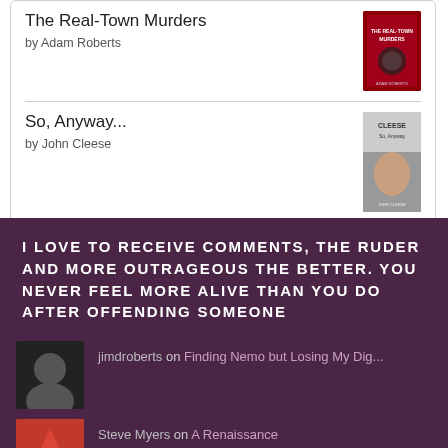The Real-Town Murders
by Adam Roberts
So, Anyway...
by John Cleese
[Figure (logo): goodreads button/logo with rounded rectangle border]
I LOVE TO RECEIVE COMMENTS, THE RUDER AND MORE OUTRAGEOUS THE BETTER. YOU NEVER FEEL MORE ALIVE THAN YOU DO AFTER OFFENDING SOMEONE
jimdroberts on Finding Nemo but Losing My Dig...
Steve Myers on A Renaissance